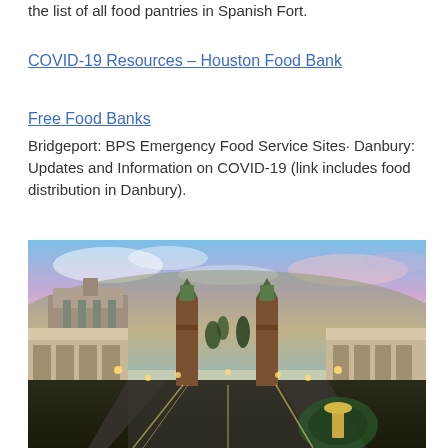the list of all food pantries in Spanish Fort.
COVID-19 Resources – Houston Food Bank
Free Food Banks
Bridgeport: BPS Emergency Food Service Sites· Danbury: Updates and Information on COVID-19 (link includes food distribution in Danbury).
[Figure (photo): Aerial twilight view of a large city plaza with illuminated towers, a roundabout fountain, grand classical buildings, and colorful sky with pink and blue clouds — resembling Plaza de España in Barcelona.]